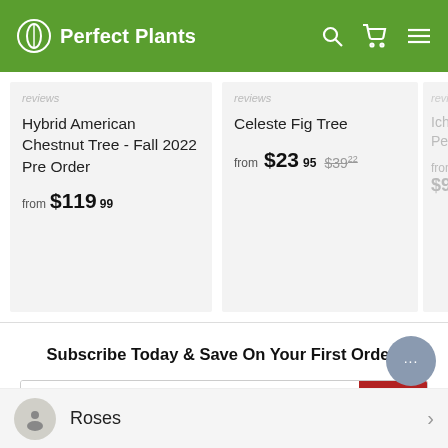Perfect Plants
reviews
Hybrid American Chestnut Tree - Fall 2022 Pre Order from $119.99
reviews
Celeste Fig Tree from $23.95 $39.22
Ichi Ki Persin from $9
Subscribe Today & Save On Your First Order!
Enter your email
Roses